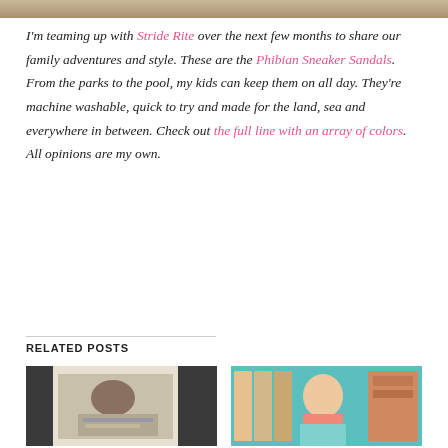[Figure (photo): Top partial photo strip showing sandy/earthy texture]
I'm teaming up with Stride Rite over the next few months to share our family adventures and style. These are the Phibian Sneaker Sandals. From the parks to the pool, my kids can keep them on all day. They're machine washable, quick to try and made for the land, sea and everywhere in between. Check out the full line with an array of colors. All opinions are my own.
RELATED POSTS
[Figure (photo): Child sitting at table reading a book, black and white curtains in background]
[Figure (photo): Girl smiling and holding a chalkboard sign, colorful bookshelves in background]